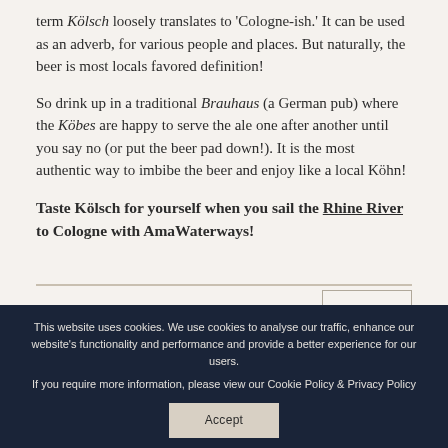term Kölsch loosely translates to 'Cologne-ish.' It can be used as an adverb, for various people and places. But naturally, the beer is most locals favored definition!
So drink up in a traditional Brauhaus (a German pub) where the Köbes are happy to serve the ale one after another until you say no (or put the beer pad down!). It is the most authentic way to imbibe the beer and enjoy like a local Köhn!
Taste Kölsch for yourself when you sail the Rhine River to Cologne with AmaWaterways!
[Figure (other): PRINT button and partial circular watermark/logo in bottom right area]
This website uses cookies. We use cookies to analyse our traffic, enhance our website's functionality and performance and provide a better experience for our users. If you require more information, please view our Cookie Policy & Privacy Policy
Accept